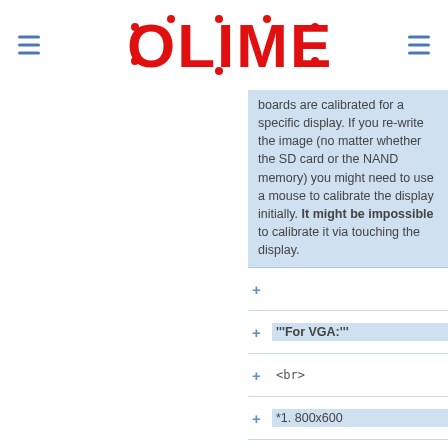OLIMEX (logo header)
boards are calibrated for a specific display. If you re-write the image (no matter whether the SD card or the NAND memory) you might need to use a mouse to calibrate the display initially. It might be impossible to calibrate it via touching the display.
+
+ '''For VGA:'''
+ <br>
+ *1. 800x600
+ *2. 1024x768